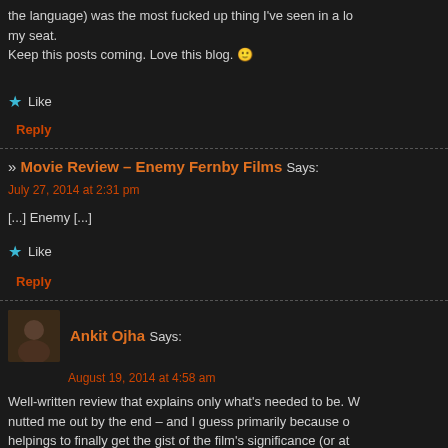the language) was the most fucked up thing I've seen in a lo... my seat.
Keep this posts coming. Love this blog. 🙂
Like
Reply
» Movie Review – Enemy Fernby Films Says:
July 27, 2014 at 2:31 pm
[...] Enemy [...]
Like
Reply
Ankit Ojha Says:
August 19, 2014 at 4:58 am
Well-written review that explains only what's needed to be. W... nutted me out by the end – and I guess primarily because o... helpings to finally get the gist of the film's significance (or at... double, the spiders et al.
Advertisements
Launch your online course with WordPress  Learn More